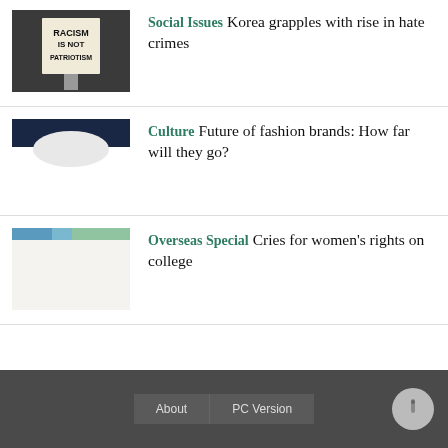[Figure (photo): Black and white photo of a protest sign reading RACISM IS NOT PATRIOTISM]
Social Issues  Korea grapples with rise in hate crimes
[Figure (photo): Photo with dark blue sky and white cloud/fabric, fashion related]
Culture  Future of fashion brands: How far will they go?
[Figure (photo): Photo with blue sky and greenery, campus scene]
Overseas Special  Cries for women's rights on college
About   PC Version